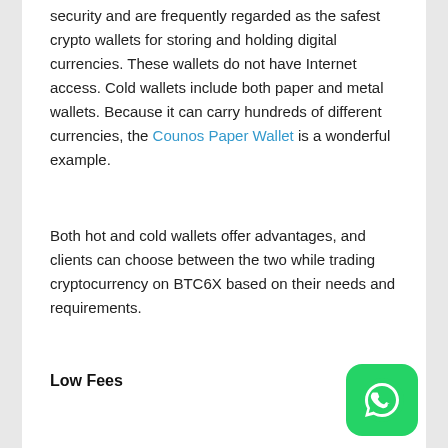security and are frequently regarded as the safest crypto wallets for storing and holding digital currencies. These wallets do not have Internet access. Cold wallets include both paper and metal wallets. Because it can carry hundreds of different currencies, the Counos Paper Wallet is a wonderful example.
Both hot and cold wallets offer advantages, and clients can choose between the two while trading cryptocurrency on BTC6X based on their needs and requirements.
Low Fees
When deciding which exchange to use, the topic of exchange fees is also crucial to consider. Some money